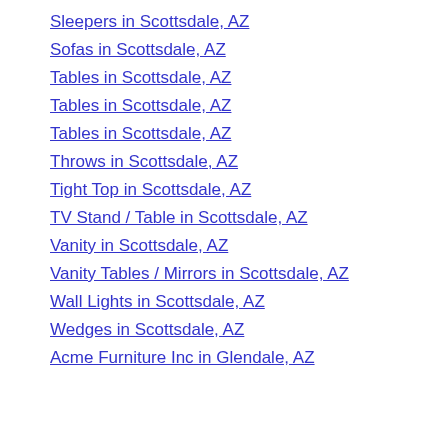Sleepers in Scottsdale, AZ
Sofas in Scottsdale, AZ
Tables in Scottsdale, AZ
Tables in Scottsdale, AZ
Tables in Scottsdale, AZ
Throws in Scottsdale, AZ
Tight Top in Scottsdale, AZ
TV Stand / Table in Scottsdale, AZ
Vanity in Scottsdale, AZ
Vanity Tables / Mirrors in Scottsdale, AZ
Wall Lights in Scottsdale, AZ
Wedges in Scottsdale, AZ
Acme Furniture Inc in Glendale, AZ